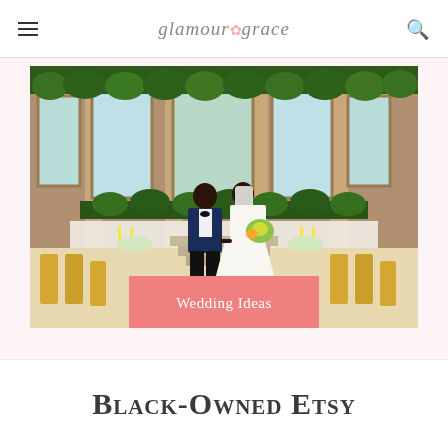glamour & grace
[Figure (photo): Wedding photo of a Black couple standing in an elegant reception venue with arched windows, greenery garlands, gold chairs, and floral table settings. Groom in navy tuxedo, bride in white gown holding yellow bouquet.]
Wedding Ideas
Black-Owned Etsy